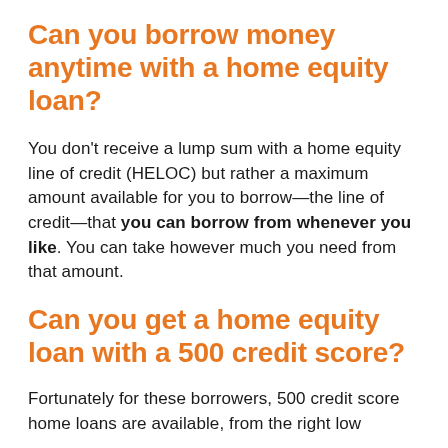Can you borrow money anytime with a home equity loan?
You don't receive a lump sum with a home equity line of credit (HELOC) but rather a maximum amount available for you to borrow—the line of credit—that you can borrow from whenever you like. You can take however much you need from that amount.
Can you get a home equity loan with a 500 credit score?
Fortunately for these borrowers, 500 credit score home loans are available, from the right low